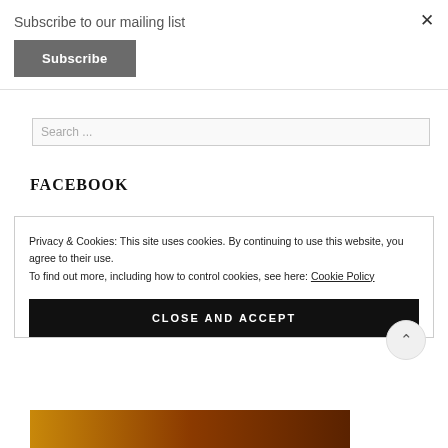Subscribe to our mailing list
Subscribe
Search ...
FACEBOOK
Privacy & Cookies: This site uses cookies. By continuing to use this website, you agree to their use.
To find out more, including how to control cookies, see here: Cookie Policy
CLOSE AND ACCEPT
[Figure (photo): Food image strip at the bottom of the page showing grilled or roasted meat with warm orange and brown tones]